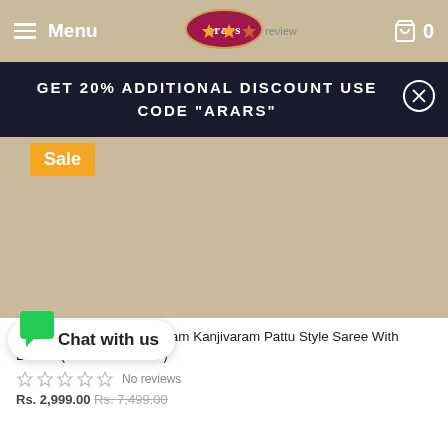Menu | arars logo | 0 (cart)
GET 20% ADDITIONAL DISCOUNT USE CODE "ARARS"
Sale
[Figure (photo): Product image area for Kanchipuram Kanjivaram saree, shown on beige background]
Arars Women's Kanchipuram Kanjivaram Pattu Style Saree With Blouse (277 SF SAFAIR )
No reviews
Rs. 2,999.00 Rs. 7,499.00